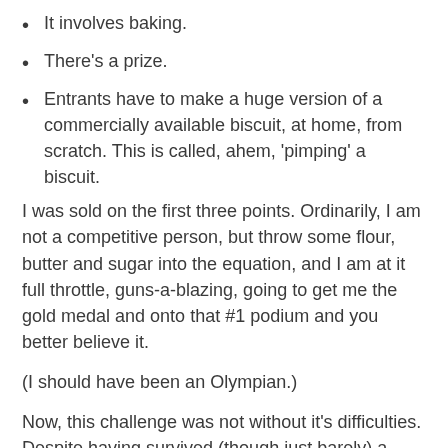It involves baking.
There's a prize.
Entrants have to make a huge version of a commercially available biscuit, at home, from scratch. This is called, ahem, 'pimping' a biscuit.
I was sold on the first three points. Ordinarily, I am not a competitive person, but throw some flour, butter and sugar into the equation, and I am at it full throttle, guns-a-blazing, going to get me the gold medal and onto that #1 podium and you better believe it.
(I should have been an Olympian.)
Now, this challenge was not without it's difficulties. Despite having survived (though just barely) a childhood addiction to/dependency on those lurid pink wafers that come in the huge biscuit selection boxes you can buy at Christmas, as an adult I don't really buy biscuits that often, and those I like probably wouldn't appeal to judges ( my favourites are fig rolls and Garibaldi - hardly going to set the world alight with